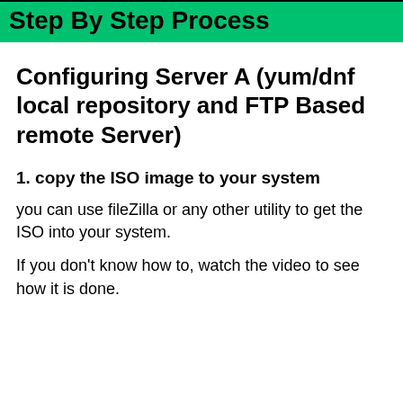Step By Step Process
Configuring Server A (yum/dnf local repository and FTP Based remote Server)
1. copy the ISO image to your system
you can use fileZilla or any other utility to get the ISO into your system.
If you don't know how to, watch the video to see how it is done.